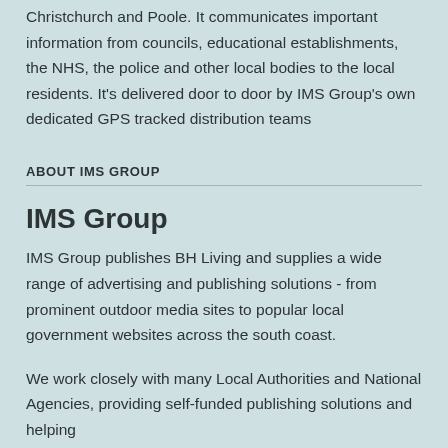Christchurch and Poole. It communicates important information from councils, educational establishments, the NHS, the police and other local bodies to the local residents. It's delivered door to door by IMS Group's own dedicated GPS tracked distribution teams
ABOUT IMS GROUP
IMS Group
IMS Group publishes BH Living and supplies a wide range of advertising and publishing solutions - from prominent outdoor media sites to popular local government websites across the south coast.
We work closely with many Local Authorities and National Agencies, providing self-funded publishing solutions and helping